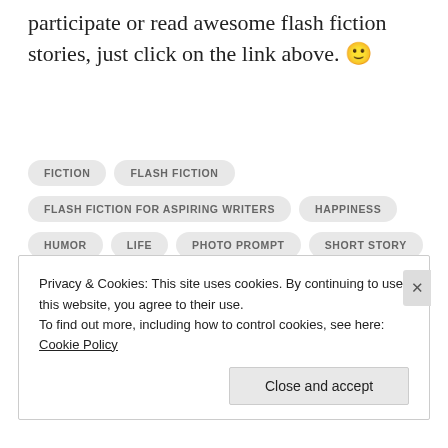participate or read awesome flash fiction stories, just click on the link above. 🙂
FICTION
FLASH FICTION
FLASH FICTION FOR ASPIRING WRITERS
HAPPINESS
HUMOR
LIFE
PHOTO PROMPT
SHORT STORY
STORIES
WORDS
WRITING
WRITING CHALLENGE
Privacy & Cookies: This site uses cookies. By continuing to use this website, you agree to their use. To find out more, including how to control cookies, see here: Cookie Policy
Close and accept